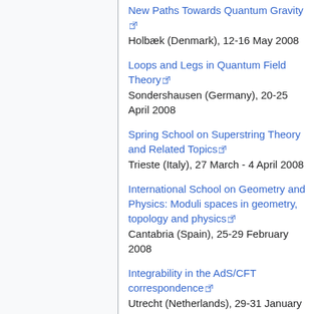New Paths Towards Quantum Gravity
Holbæk (Denmark), 12-16 May 2008
Loops and Legs in Quantum Field Theory
Sondershausen (Germany), 20-25 April 2008
Spring School on Superstring Theory and Related Topics
Trieste (Italy), 27 March - 4 April 2008
International School on Geometry and Physics: Moduli spaces in geometry, topology and physics
Cantabria (Spain), 25-29 February 2008
Integrability in the AdS/CFT correspondence
Utrecht (Netherlands), 29-31 January 2008
RTN Winter School on Strings,